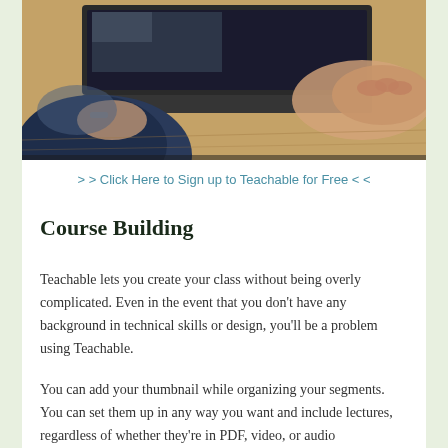[Figure (photo): Person working at a laptop on a wooden desk, viewed from above at an angle, hands visible near keyboard]
> > Click Here to Sign up to Teachable for Free < <
Course Building
Teachable lets you create your class without being overly complicated. Even in the event that you don't have any background in technical skills or design, you'll be a problem using Teachable.
You can add your thumbnail while organizing your segments. You can set them up in any way you want and include lectures, regardless of whether they're in PDF, video, or audio format.